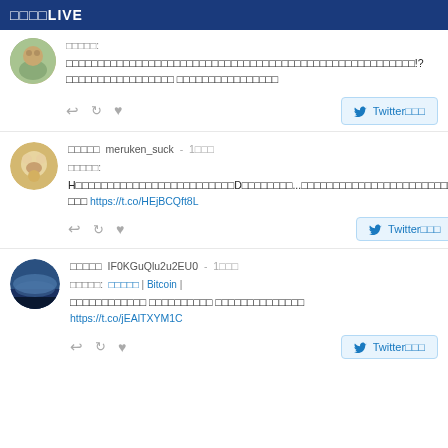□□□□LIVE
[Figure (photo): Circular avatar of a dog outdoors]
□□□□□□□□□□□□□□□□□□□□□□□□□□□□□□□□□□□□□□□□□□□□□□□□□□□□□□□!?□□□□□□□□□□□□□□□□□ □□□□□□□□□□□□□□□□
Twitter□□□
[Figure (photo): Circular avatar of a fluffy dog (Pomeranian)]
□□□□□  meruken_suck  -  1□□□
□□□□□:
H□□□□□□□□□□□□□□□□□□□□□□□□□D□□□□□□□□...□□□□□□□□□□□□□□□□□□□□□□□□
□□□ https://t.co/HEjBCQft8L
Twitter□□□
[Figure (photo): Circular avatar with landscape/sunset scene]
□□□□□  IF0KGuQlu2u2EU0  -  1□□□
□□□□□:  □□□□□  |  Bitcoin  |
□□□□□□□□□□□□ □□□□□□□□□□ □□□□□□□□□□□□□□
https://t.co/jEAlTXYM1C
Twitter□□□